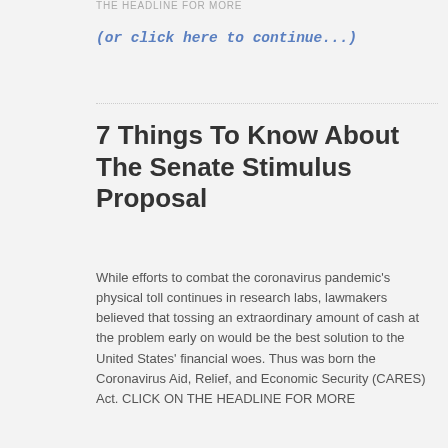THE HEADLINE FOR MORE
(or click here to continue...)
7 Things To Know About The Senate Stimulus Proposal
While efforts to combat the coronavirus pandemic's physical toll continues in research labs, lawmakers believed that tossing an extraordinary amount of cash at the problem early on would be the best solution to the United States' financial woes. Thus was born the Coronavirus Aid, Relief, and Economic Security (CARES) Act. CLICK ON THE HEADLINE FOR MORE